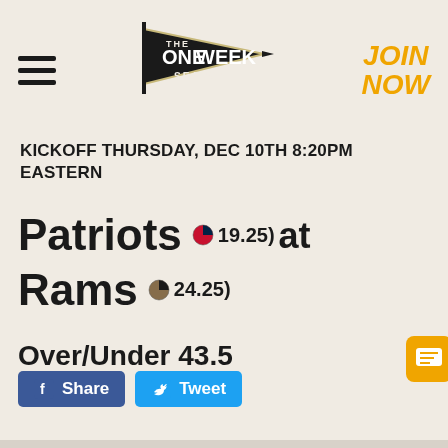[Figure (logo): The One Week Season pennant logo with hamburger menu on left and JOIN NOW orange text on right]
KICKOFF THURSDAY, DEC 10TH 8:20PM EASTERN
Patriots (19.25) at Rams (24.25)
Over/Under 43.5
[Figure (other): Facebook Share button and Twitter Tweet button, plus orange comment icon on right]